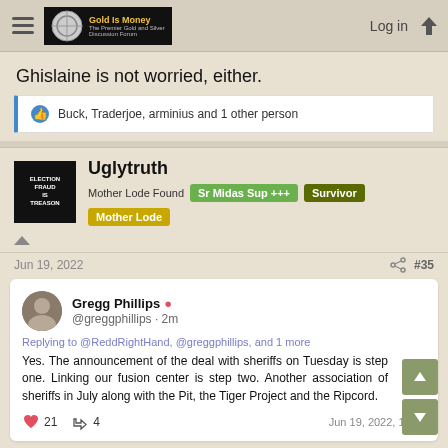Gold Is Money - The Premier Gold and Silver Discussion Forum | Log in
Ghislaine is not worried, either.
Buck, Traderjoe, arminius and 1 other person
Uglytruth
Mother Lode Found  Sr Midas Sup +++  Survivor  Mother Lode
Jun 19, 2022  #35
[Figure (screenshot): Embedded tweet from Gregg Phillips (@greggphillips, 2m): Replying to @ReddRightHand, @greggphillips, and 1 more. 'Yes. The announcement of the deal with sheriffs on Tuesday is step one. Linking our fusion center is step two. Another association of sheriffs in July along with the Pit, the Tiger Project and the Ripcord.' 21 likes, 4 retweets. Jun 19, 2022, 14:37]